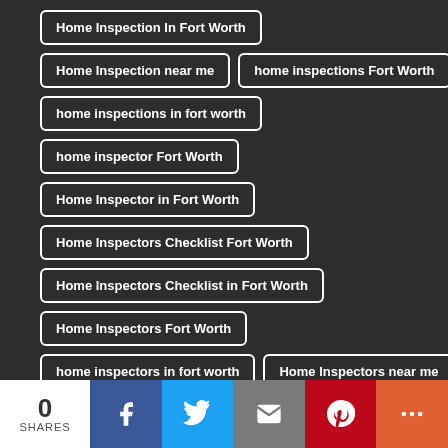Home Inspection In Fort Worth
Home Inspection near me
home inspections Fort Worth
home inspections in fort worth
home inspector Fort Worth
Home Inspector in Fort Worth
Home Inspectors Checklist Fort Worth
Home Inspectors Checklist in Fort Worth
Home Inspectors Fort Worth
home inspectors in fort worth
Home Inspectors near me
Home Sellers in Fort Worth
0 SHARES | Facebook | Twitter | Email | Pinterest | More